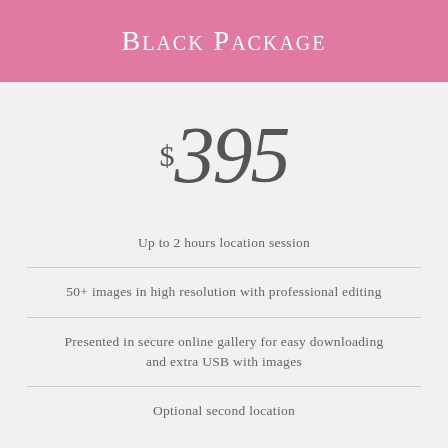Black Package
$395
Up to 2 hours location session
50+ images in high resolution with professional editing
Presented in secure online gallery for easy downloading and extra USB with images
Optional second location